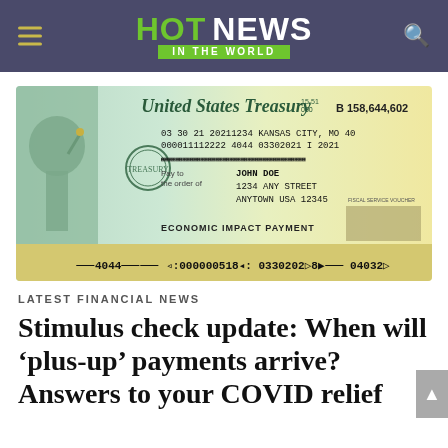HOT NEWS IN THE WORLD
[Figure (photo): A United States Treasury check marked 'Economic Impact Payment' made out to John Doe, 1234 Any Street, Anytown USA 12345, dated 03 30 21, check number B 158,644,602.]
LATEST FINANCIAL NEWS
Stimulus check update: When will ‘plus-up’ payments arrive? Answers to your COVID relief questions